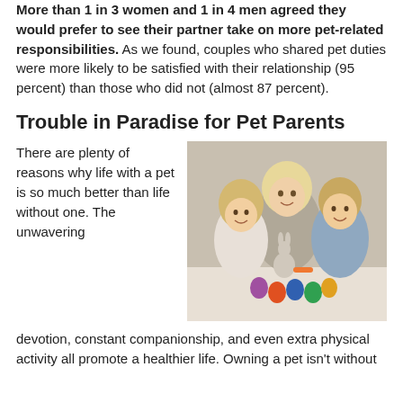More than 1 in 3 women and 1 in 4 men agreed they would prefer to see their partner take on more pet-related responsibilities. As we found, couples who shared pet duties were more likely to be satisfied with their relationship (95 percent) than those who did not (almost 87 percent).
Trouble in Paradise for Pet Parents
[Figure (photo): A woman and two young children (a girl and a boy) lying on the floor smiling, with a small rabbit and colorful Easter eggs in the foreground.]
There are plenty of reasons why life with a pet is so much better than life without one. The unwavering devotion, constant companionship, and even extra physical activity all promote a healthier life. Owning a pet isn't without